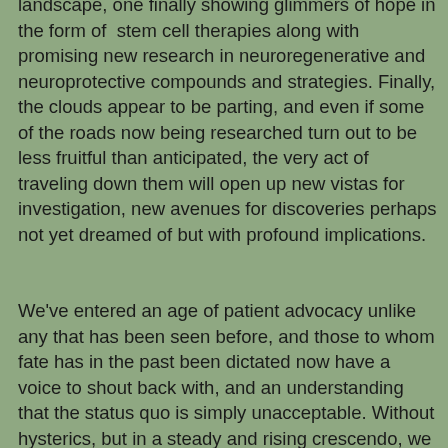landscape, one finally showing glimmers of hope in the form of stem cell therapies along with promising new research in neuroregenerative and neuroprotective compounds and strategies. Finally, the clouds appear to be parting, and even if some of the roads now being researched turn out to be less fruitful than anticipated, the very act of traveling down them will open up new vistas for investigation, new avenues for discoveries perhaps not yet dreamed of but with profound implications.
We've entered an age of patient advocacy unlike any that has been seen before, and those to whom fate has in the past been dictated now have a voice to shout back with, and an understanding that the status quo is simply unacceptable. Without hysterics, but in a steady and rising crescendo, we must insist that new ideas be taken seriously, and demand that the vested interests of those who have profited from our collective misery not hold sway any longer. A revolution is slowly building, and with the help of dedicated physicians and researchers, we can and must become the driving force behind new ideas and new efforts that will transform the smoldering wreckage of what was into a gleaming futuro